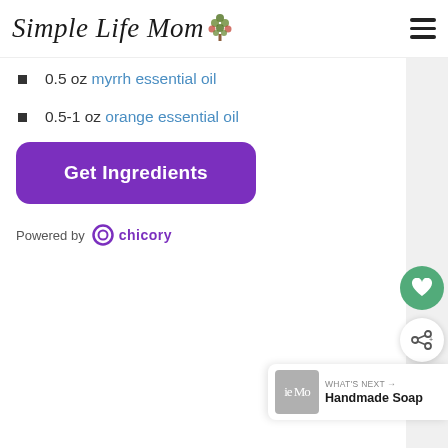Simple Life Mom
0.5 oz myrrh essential oil
0.5-1 oz orange essential oil
[Figure (other): Get Ingredients button - purple rounded rectangle with white bold text]
Powered by chicory
[Figure (other): Floating heart button (green circle) and share button (white circle with share icon), plus What's Next panel showing Handmade Soap]